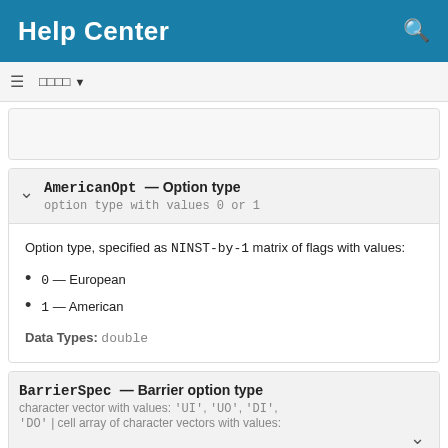Help Center
option type with values 0 or 1 [truncated card]
AmericanOpt — Option type
option type with values 0 or 1
Option type, specified as NINST-by-1 matrix of flags with values:
0 — European
1 — American
Data Types: double
BarrierSpec — Barrier option type
character vector with values: 'UI', 'UO', 'DI', 'DO' | cell array of character vectors with values: